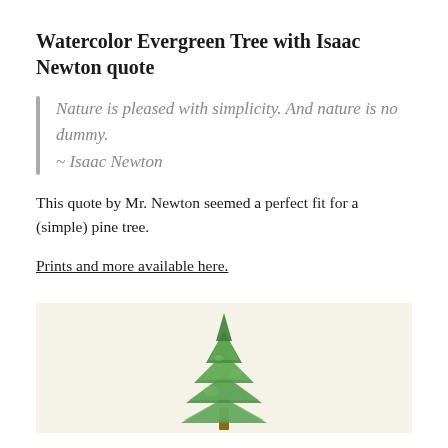Watercolor Evergreen Tree with Isaac Newton quote
Nature is pleased with simplicity. And nature is no dummy.
~ Isaac Newton
This quote by Mr. Newton seemed a perfect fit for a (simple) pine tree.
Prints and more available here.
[Figure (illustration): Watercolor painting of an evergreen/pine tree on a cream/beige background, showing the top portion of a green tree against a light background.]